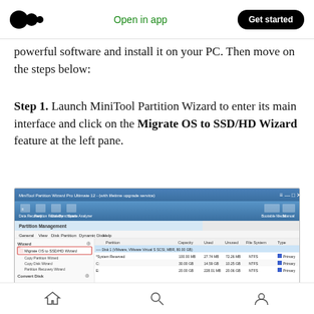Medium logo | Open in app | Get started
powerful software and install it on your PC. Then move on the steps below:
Step 1. Launch MiniTool Partition Wizard to enter its main interface and click on the Migrate OS to SSD/HD Wizard feature at the left pane.
[Figure (screenshot): MiniTool Partition Wizard Pro Ultimate interface showing Partition Management panel with Migrate OS to SSD/HD Wizard highlighted in red box on the left sidebar, and partition list on the right showing disk partitions with columns for Partition, Capacity, Used, Unused, File System, and Type.]
Home | Search | Profile navigation icons